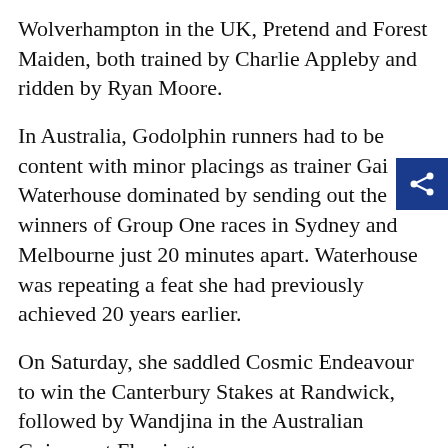Wolverhampton in the UK, Pretend and Forest Maiden, both trained by Charlie Appleby and ridden by Ryan Moore.
In Australia, Godolphin runners had to be content with minor placings as trainer Gai Waterhouse dominated by sending out the winners of Group One races in Sydney and Melbourne just 20 minutes apart. Waterhouse was repeating a feat she had previously achieved 20 years earlier.
On Saturday, she saddled Cosmic Endeavour to win the Canterbury Stakes at Randwick, followed by Wandjina in the Australian Guineas at Flemington.
"You work towards these races, and when you get it right, it's just a fantastic feeling," Waterhouse said.
She also won with Vancouver (Todman Stakes) and English (Reisling Stakes) to give her high hopes that she can win her sixth Golden Slipper at Rosehill on March 21.